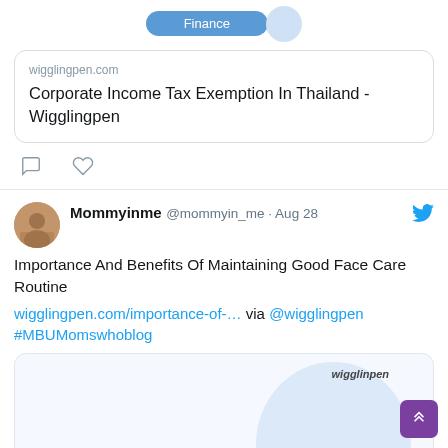[Figure (screenshot): Link card for wigglingpen.com showing 'Corporate Income Tax Exemption In Thailand - Wigglingpen' with Finance badge]
wigglingpen.com
Corporate Income Tax Exemption In Thailand - Wigglingpen
Mommyinme @mommyin_me · Aug 28
Importance And Benefits Of Maintaining Good Face Care Routine
wigglingpen.com/importance-of-... via @wigglingpen #MBUMomswhoblog
[Figure (screenshot): Preview card showing 'Importance And Benefits Of Maintaining Good Face Care Routine' with Lifestyle badge and wigglingpen logo]